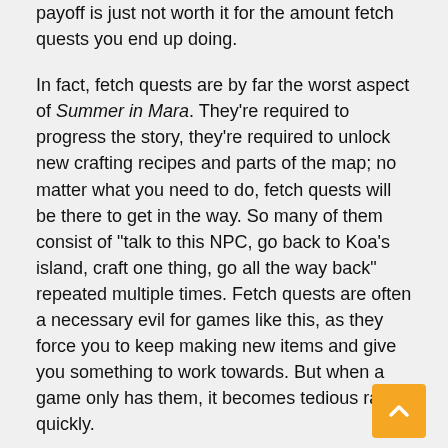payoff is just not worth it for the amount fetch quests you end up doing.
In fact, fetch quests are by far the worst aspect of Summer in Mara. They're required to progress the story, they're required to unlock new crafting recipes and parts of the map; no matter what you need to do, fetch quests will be there to get in the way. So many of them consist of "talk to this NPC, go back to Koa's island, craft one thing, go all the way back" repeated multiple times. Fetch quests are often a necessary evil for games like this, as they force you to keep making new items and give you something to work towards. But when a game only has them, it becomes tedious rather quickly.
Even if the fetch quests were toned down, the gameplay would still need some major overhauls to stay fresh for more than a couple of hours. Summer in Mara uses a bunch of simple systems for its gathering and crafting. You can plant crops and trees, mine ore, fish, basically what you'd expect from a game like this. Unlike other farming/crafting focused games, not of the systems have any real depth to them. Crops require no